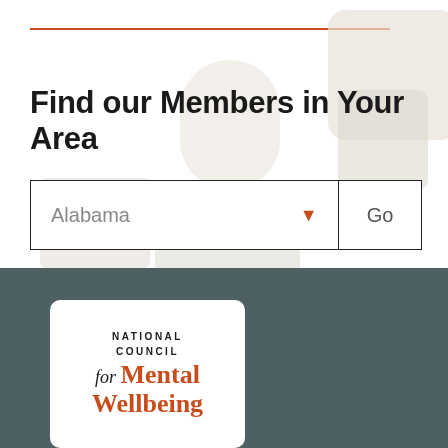Find our Members in Your Area
[Figure (screenshot): Dropdown search widget with 'Alabama' selected and a 'Go' button]
[Figure (logo): National Council for Mental Wellbeing logo on white card over dark teal background]